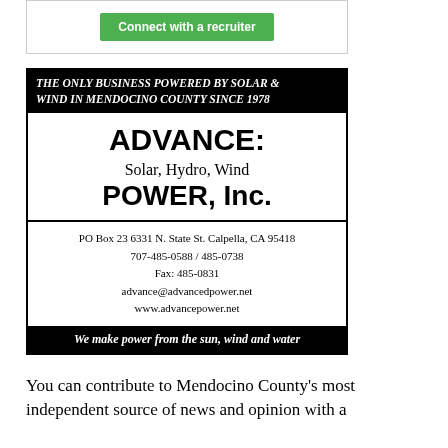[Figure (other): Green 'Connect with a recruiter' button inside a bordered box]
[Figure (other): Advertisement for ADVANCE: Solar, Hydro, Wind POWER, Inc. Black bordered box with black header banner reading 'THE ONLY BUSINESS POWERED BY SOLAR & WIND IN MENDOCINO COUNTY SINCE 1978', main body with company name and contact info, and black footer banner 'We make power from the sun, wind and water']
You can contribute to Mendocino County's most independent source of news and opinion with a